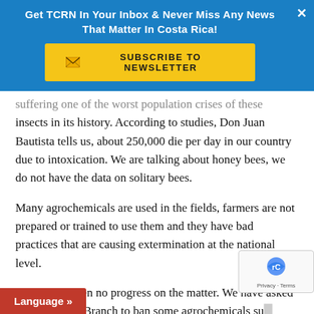Get TCRN In Your Inbox & Never Miss Any News That Matter In Costa Rica!
[Figure (other): Yellow Subscribe to Newsletter button with envelope icon on blue banner]
suffering one of the worst population crises of these insects in its history. According to studies, Don Juan Bautista tells us, about 250,000 die per day in our country due to intoxication. We are talking about honey bees, we do not have the data on solitary bees.
Many agrochemicals are used in the fields, farmers are not prepared or trained to use them and they have bad practices that are causing extermination at the national level.
“There has been no progress on the matter. We have asked the Executive Branch to ban some agrochemicals su... Fipronil and all those known as neonicotinoids (they... les that act on the central nervou...